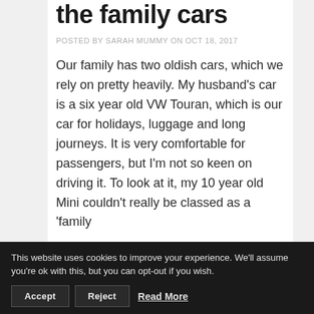the family cars
POSTED BY SARAH MUMMY ON OCT 18, 2017
Our family has two oldish cars, which we rely on pretty heavily. My husband's car is a six year old VW Touran, which is our car for holidays, luggage and long journeys. It is very comfortable for passengers, but I'm not so keen on driving it. To look at it, my 10 year old Mini couldn't really be classed as a 'family
This website uses cookies to improve your experience. We'll assume you're ok with this, but you can opt-out if you wish. Accept Reject Read More